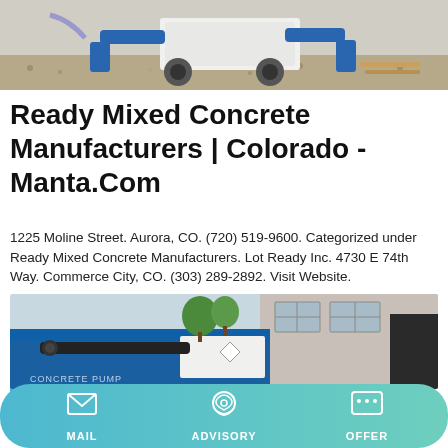[Figure (photo): Construction equipment / concrete mixer machine on a gravel surface with blue components]
Ready Mixed Concrete Manufacturers | Colorado - Manta.Com
1225 Moline Street. Aurora, CO. (720) 519-9600. Categorized under Ready Mixed Concrete Manufacturers. Lot Ready Inc. 4730 E 74th Way. Commerce City, CO. (303) 289-2892. Visit Website.
[Figure (other): Learn More button (teal/cyan colored)]
[Figure (photo): Concrete pump truck parked outside a building with trees; partial text 'CONCRETE PUMP' visible]
MAIL   ADVISORY   OFFER